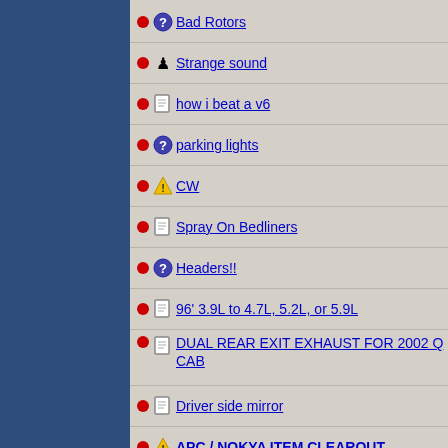Bad Rotors
Strange sound
how i beat a v6
parking lights
CW
Spray On Bedliners
Headers!!
96' 3.9L to 4.7L, 5.2L, or 5.9L
DUAL REAR EXIT EXHAUST FOR 2002 Q CAB
Driver side mirror
APC / NOKYA ITEM CLEAROUT
I think I broke my dak
cat back exhaust input needed....
Pages: 1 2 3 4 5 6 7 8 9 10 11 12 13 14 15 16 17 35 36 37 38 39 40 41 42 43 44 45 46 47 48 49 50 68 69 70 71 72 73 74 75 76 77 78 79 80 81 82 83 100 101 102 103 104 105 106 107 108 109 110 1 123 124 125 126 127 128 129 130 131 132 133 1 146 147 148 149 150 151 152 153 154 155 156 1 169 170 171 172 173 174 175 176 177 178 179 1